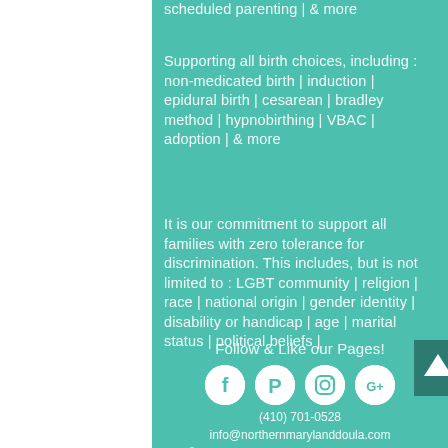scheduled parenting | & more
Supporting all birth choices, including : non-medicated birth | induction | epidural birth | cesarean | bradley method | hypnobirthing | VBAC | adoption | & more
It is our commitment to support all families with zero tolerance for discrimination. This includes, but is not limited to : LGBT community | religion | race | national origin | gender identity | disability or handicap | age | marital status | political beliefs |
Follow & Like our Pages!
[Figure (other): Four circular social media icons: Facebook, Pinterest, Instagram, Google+]
(410) 701-0528
info@northernmarylanddoula.com
© 2016 Northern Maryland Doula Services